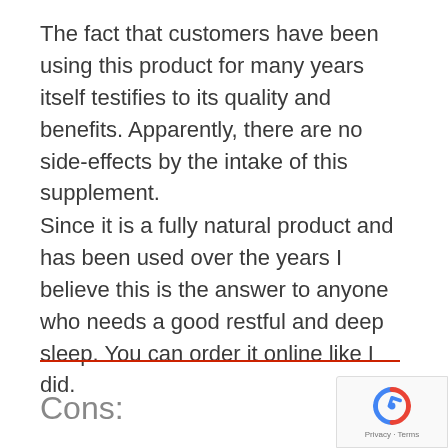The fact that customers have been using this product for many years itself testifies to its quality and benefits. Apparently, there are no side-effects by the intake of this supplement.
Since it is a fully natural product and has been used over the years I believe this is the answer to anyone who needs a good restful and deep sleep. You can order it online like I did.
Cons: